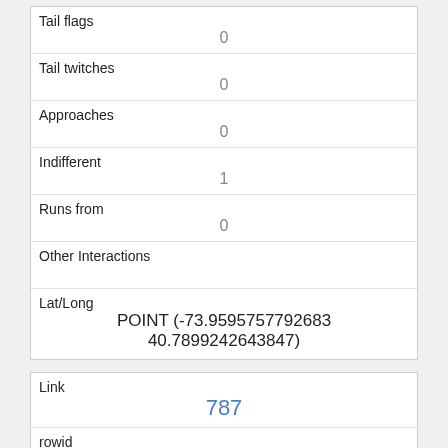| Field | Value |
| --- | --- |
| Tail flags | 0 |
| Tail twitches | 0 |
| Approaches | 0 |
| Indifferent | 1 |
| Runs from | 0 |
| Other Interactions |  |
| Lat/Long | POINT (-73.9595757792683 40.7899242643847) |
| Field | Value |
| --- | --- |
| Link | 787 |
| rowid | 787 |
| longitude |  |